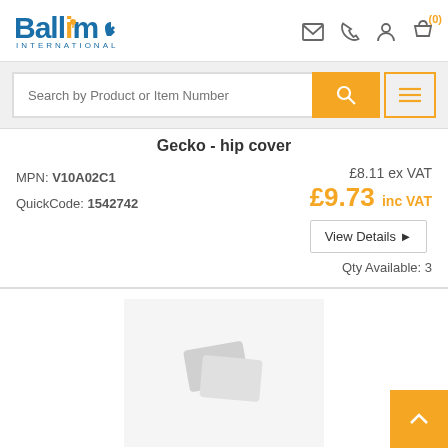[Figure (logo): Ballicom International logo with orange dot and hand icon]
Search by Product or Item Number
Gecko - hip cover
MPN: V10A02C1
QuickCode: 1542742
£8.11 ex VAT
£9.73 inc VAT
View Details
Qty Available: 3
[Figure (photo): Product image placeholder with card/photo icon]